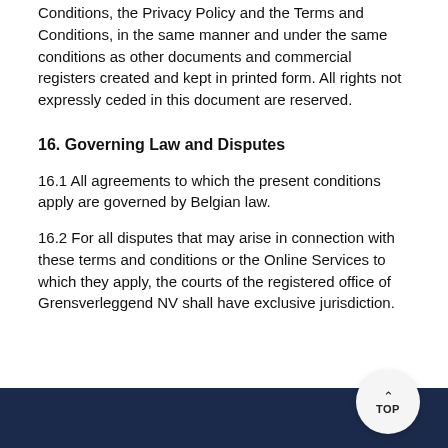connection with these Online Selling Terms and Conditions, the Privacy Policy and the Terms and Conditions, in the same manner and under the same conditions as other documents and commercial registers created and kept in printed form. All rights not expressly ceded in this document are reserved.
16. Governing Law and Disputes
16.1 All agreements to which the present conditions apply are governed by Belgian law.
16.2 For all disputes that may arise in connection with these terms and conditions or the Online Services to which they apply, the courts of the registered office of Grensverleggend NV shall have exclusive jurisdiction.